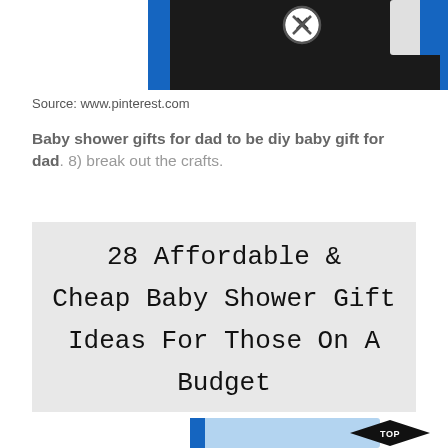[Figure (photo): Top portion of a baby bib with black background and blue trim, with a circled X button overlay]
Source: www.pinterest.com
Baby shower gifts for dad to be diy baby gift for dad. 8) break out the crafts.
[Figure (photo): Gray box with decorative text reading: 28 Affordable & Cheap Baby Shower Gift Ideas For Those On A Budget]
[Figure (photo): Bottom portion of another baby bib with blue trim on white/light patterned fabric, with a circled X button overlay and a black diamond TOP badge]